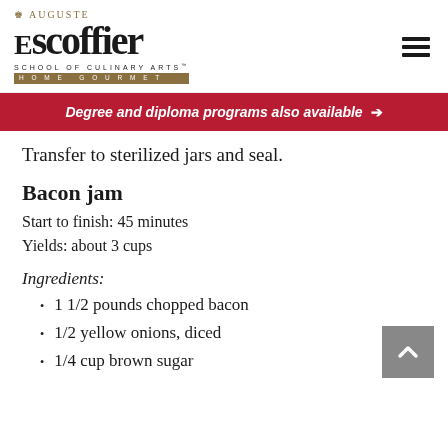Auguste Escoffier School of Culinary Arts Home Gourmet
Degree and diploma programs also available →
Transfer to sterilized jars and seal.
Bacon jam
Start to finish: 45 minutes
Yields: about 3 cups
Ingredients:
1 1/2 pounds chopped bacon
1/2 yellow onions, diced
1/4 cup brown sugar